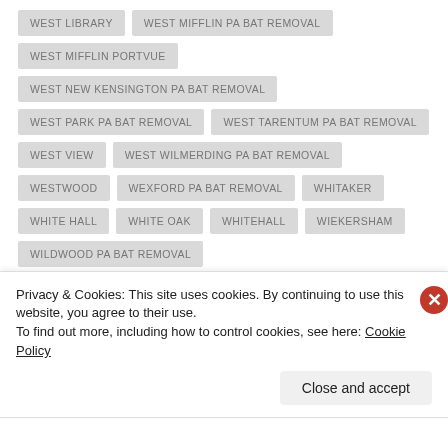WEST LIBRARY
WEST MIFFLIN PA BAT REMOVAL
WEST MIFFLIN PORTVUE
WEST NEW KENSINGTON PA BAT REMOVAL
WEST PARK PA BAT REMOVAL
WEST TARENTUM PA BAT REMOVAL
WEST VIEW
WEST WILMERDING PA BAT REMOVAL
WESTWOOD
WEXFORD PA BAT REMOVAL
WHITAKER
WHITE HALL
WHITE OAK
WHITEHALL
WIEKERSHAM
WILDWOOD PA BAT REMOVAL
Privacy & Cookies: This site uses cookies. By continuing to use this website, you agree to their use.
To find out more, including how to control cookies, see here: Cookie Policy
Close and accept